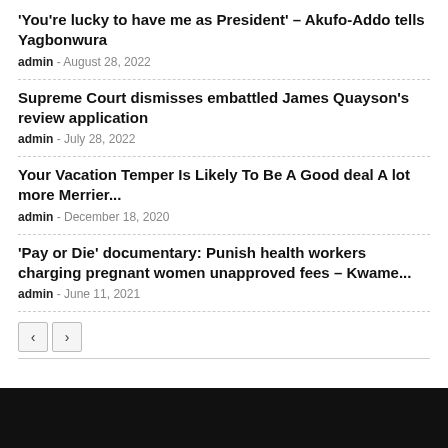‘You’re lucky to have me as President’ – Akufo-Addo tells Yagbonwura
admin - August 28, 2022
Supreme Court dismisses embattled James Quayson’s review application
admin - July 28, 2022
Your Vacation Temper Is Likely To Be A Good deal A lot more Merrier...
admin - December 18, 2020
‘Pay or Die’ documentary: Punish health workers charging pregnant women unapproved fees – Kwame...
admin - June 11, 2021